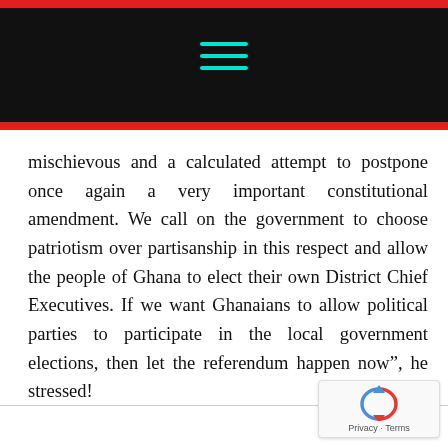Navigation header bar with hamburger menu icon
mischievous and a calculated attempt to postpone once again a very important constitutional amendment. We call on the government to choose patriotism over partisanship in this respect and allow the people of Ghana to elect their own District Chief Executives. If we want Ghanaians to allow political parties to participate in the local government elections, then let the referendum happen now”, he stressed!
[Figure (logo): reCAPTCHA badge with recycle-arrow logo and Privacy - Terms text]